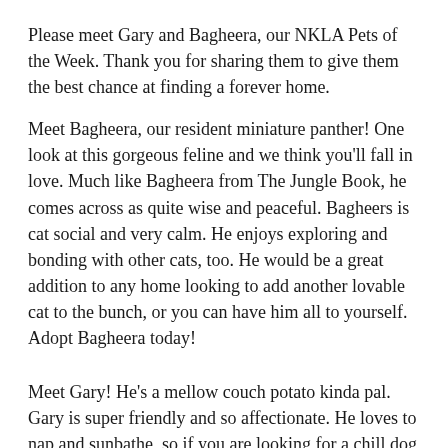Please meet Gary and Bagheera, our NKLA Pets of the Week. Thank you for sharing them to give them the best chance at finding a forever home.
Meet Bagheera, our resident miniature panther! One look at this gorgeous feline and we think you'll fall in love. Much like Bagheera from The Jungle Book, he comes across as quite wise and peaceful. Bagheers is cat social and very calm. He enjoys exploring and bonding with other cats, too. He would be a great addition to any home looking to add another lovable cat to the bunch, or you can have him all to yourself. Adopt Bagheera today!
Meet Gary! He's a mellow couch potato kinda pal. Gary is super friendly and so affectionate. He loves to nap and sunbathe, so if you are looking for a chill dog who loves to relax, Gary may be the one for you! Gary is about 7 years old and his adoption is $10. Adopt him today!